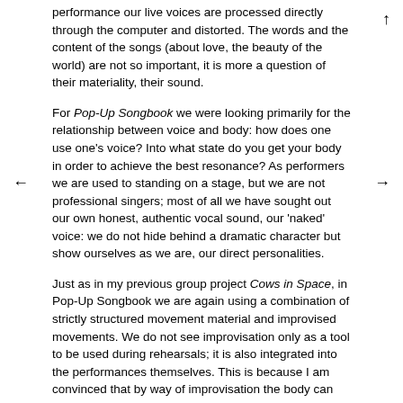performance our live voices are processed directly through the computer and distorted. The words and the content of the songs (about love, the beauty of the world) are not so important, it is more a question of their materiality, their sound.
For Pop-Up Songbook we were looking primarily for the relationship between voice and body: how does one use one's voice? Into what state do you get your body in order to achieve the best resonance? As performers we are used to standing on a stage, but we are not professional singers; most of all we have sought out our own honest, authentic vocal sound, our 'naked' voice: we do not hide behind a dramatic character but show ourselves as we are, our direct personalities.
Just as in my previous group project Cows in Space, in Pop-Up Songbook we are again using a combination of strictly structured movement material and improvised movements. We do not see improvisation only as a tool to be used during rehearsals; it is also integrated into the performances themselves. This is because I am convinced that by way of improvisation the body can arrive at very complex patterns of movement, which one would never be able to think of in isolation beforehand. In improvisation one has to dare to go all the way, past the boundary where you repeat 'habitual' movements your body knows.
As far as structure is concerned, we have worked on the principle of parallel lines; after all, in addition to each dancer's individual movements one works with their relationships with each other: the group becomes a